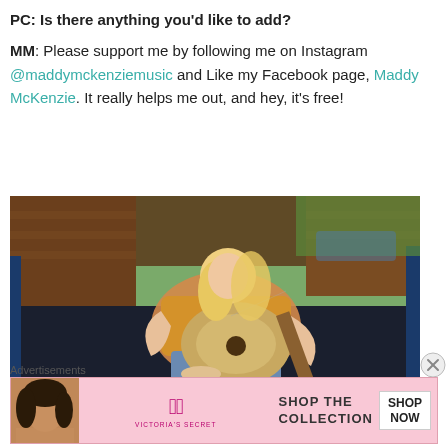PC: Is there anything you'd like to add?

MM: Please support me by following me on Instagram @maddymckenziemusic and Like my Facebook page, Maddy McKenzie. It really helps me out, and hey, it's free!
[Figure (photo): Young blonde woman in a yellow off-shoulder top and denim shorts sitting in the bed of a pickup truck playing an acoustic guitar, with wooden truck bed walls and green foliage visible in the background.]
Advertisements
[Figure (infographic): Victoria's Secret advertisement banner with pink background showing a woman's face on the left, the Victoria's Secret logo in the center, text 'SHOP THE COLLECTION' and a white 'SHOP NOW' button on the right.]